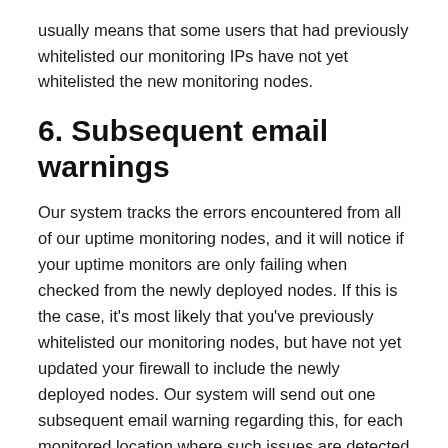usually means that some users that had previously whitelisted our monitoring IPs have not yet whitelisted the new monitoring nodes.
6. Subsequent email warnings
Our system tracks the errors encountered from all of our uptime monitoring nodes, and it will notice if your uptime monitors are only failing when checked from the newly deployed nodes. If this is the case, it's most likely that you've previously whitelisted our monitoring nodes, but have not yet updated your firewall to include the newly deployed nodes. Our system will send out one subsequent email warning regarding this, for each monitored location where such issues are detected on any of your uptime monitors. This system ensures the fact that the end-user is completely warned that there's an issue between their monitored target and the newly deployed nodes.